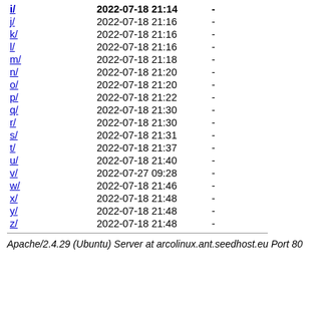| Name | Last modified | Size |
| --- | --- | --- |
| i/ | 2022-07-18 21:14 | - |
| j/ | 2022-07-18 21:16 | - |
| k/ | 2022-07-18 21:16 | - |
| l/ | 2022-07-18 21:16 | - |
| m/ | 2022-07-18 21:18 | - |
| n/ | 2022-07-18 21:20 | - |
| o/ | 2022-07-18 21:20 | - |
| p/ | 2022-07-18 21:22 | - |
| q/ | 2022-07-18 21:30 | - |
| r/ | 2022-07-18 21:30 | - |
| s/ | 2022-07-18 21:31 | - |
| t/ | 2022-07-18 21:37 | - |
| u/ | 2022-07-18 21:40 | - |
| v/ | 2022-07-27 09:28 | - |
| w/ | 2022-07-18 21:46 | - |
| x/ | 2022-07-18 21:48 | - |
| y/ | 2022-07-18 21:48 | - |
| z/ | 2022-07-18 21:48 | - |
Apache/2.4.29 (Ubuntu) Server at arcolinux.ant.seedhost.eu Port 80